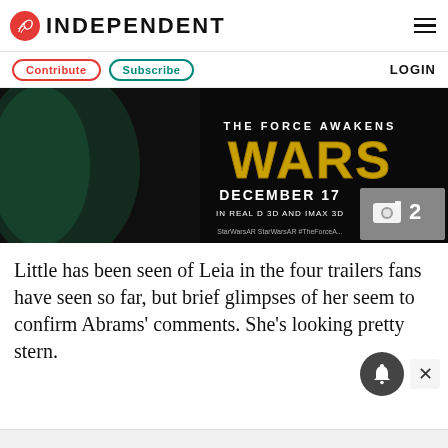INDEPENDENT
Contribute  Subscribe  LOGIN
[Figure (photo): Star Wars: The Force Awakens promotional image with text 'THE FORCE AWAKENS WARS DECEMBER 17 IN REAL D 3D AND IMAX 3D' and photo count badge showing 2]
Little has been seen of Leia in the four trailers fans have seen so far, but brief glimpses of her seem to confirm Abrams’ comments. She’s looking pretty stern.